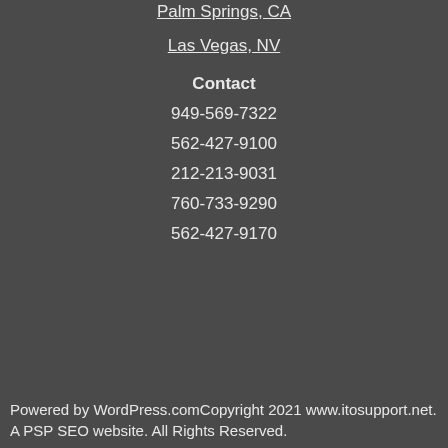Palm Springs, CA
Las Vegas, NV
Contact
949-569-7322
562-427-9100
212-213-9031
760-733-9290
562-427-9170
Powered by WordPress.comCopyright 2021 www.itosupport.net. A PSP SEO website. All Rights Reserved.